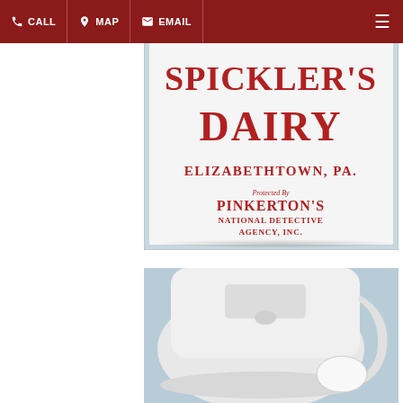CALL  MAP  EMAIL
[Figure (photo): Close-up of a vintage white milk bottle showing embossed red text reading SPICKLER'S DAIRY, ELIZABETHTOWN, PA., PROTECTED BY PINKERTON'S NATIONAL DETECTIVE AGENCY, INC.]
[Figure (photo): Bottom view of a vintage white milk bottle showing the base and handle area from below.]